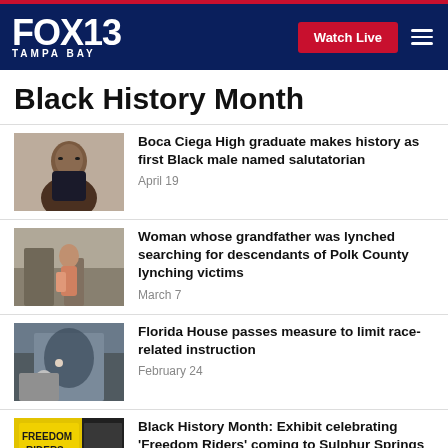FOX 13 TAMPA BAY | Watch Live
Black History Month
[Figure (photo): Headshot of a young Black male student wearing glasses and a suit]
Boca Ciega High graduate makes history as first Black male named salutatorian
April 19
[Figure (photo): A woman standing outside near a historic stone structure]
Woman whose grandfather was lynched searching for descendants of Polk County lynching victims
March 7
[Figure (photo): Street scene with a large mural and a person walking by]
Florida House passes measure to limit race-related instruction
February 24
[Figure (photo): Yellow sign reading FREEDOM RIDERS with a museum backdrop]
Black History Month: Exhibit celebrating 'Freedom Riders' coming to Sulphur Springs Museum